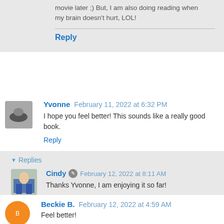movie later ;) But, I am also doing reading when my brain doesn't hurt, LOL!
Reply
Yvonne  February 11, 2022 at 6:32 PM
I hope you feel better! This sounds like a really good book.
Reply
Replies
Cindy  February 12, 2022 at 8:11 AM
Thanks Yvonne, I am enjoying it so far!
Reply
Beckie B.  February 12, 2022 at 4:59 AM
Feel better!